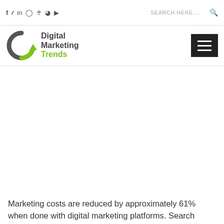f  twitter  in  instagram  pinterest  rss  youtube   SEARCH HERE....
[Figure (logo): Digital Marketing Trends logo with circular green and dark grey arrow icon and text 'Digital Marketing Trends']
Marketing costs are reduced by approximately 61% when done with digital marketing platforms. Search engine-friendly and website optimization mean being